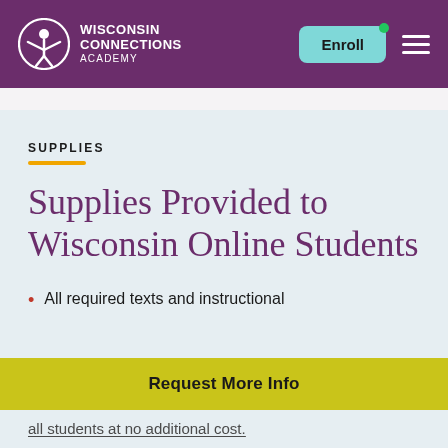Wisconsin Connections Academy — Header with Enroll button and menu
SUPPLIES
Supplies Provided to Wisconsin Online Students
All required texts and instructional
all students at no additional cost.